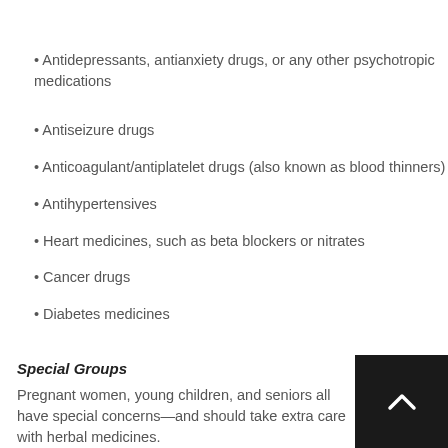Antidepressants, antianxiety drugs, or any other psychotropic medications
Antiseizure drugs
Anticoagulant/antiplatelet drugs (also known as blood thinners)
Antihypertensives
Heart medicines, such as beta blockers or nitrates
Cancer drugs
Diabetes medicines
Special Groups
Pregnant women, young children, and seniors all have special concerns—and should take extra care with herbal medicines.
Pregnancy and Breastfeeding
Some herbs are safe for pregnant and breastfeeding women, while